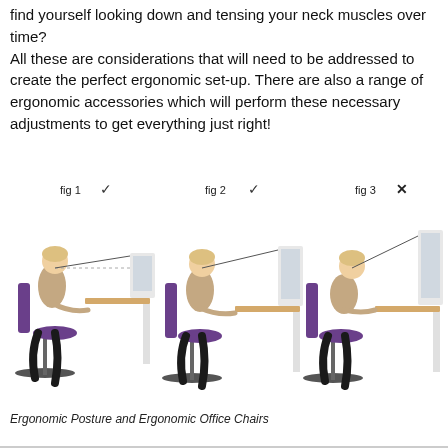find yourself looking down and tensing your neck muscles over time?
All these are considerations that will need to be addressed to create the perfect ergonomic set-up. There are also a range of ergonomic accessories which will perform these necessary adjustments to get everything just right!
[Figure (illustration): Three side-by-side illustrations of a woman sitting at a desk. Fig 1 (checkmark): correct posture with monitor at proper eye level. Fig 2 (checkmark): correct posture with monitor slightly higher. Fig 3 (X): incorrect posture with monitor too high, causing neck strain.]
Ergonomic Posture and Ergonomic Office Chairs